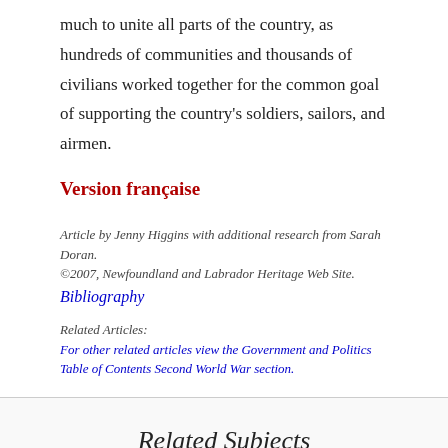much to unite all parts of the country, as hundreds of communities and thousands of civilians worked together for the common goal of supporting the country's soldiers, sailors, and airmen.
Version française
Article by Jenny Higgins with additional research from Sarah Doran. ©2007, Newfoundland and Labrador Heritage Web Site.
Bibliography
Related Articles:
For other related articles view the Government and Politics Table of Contents Second World War section.
Related Subjects